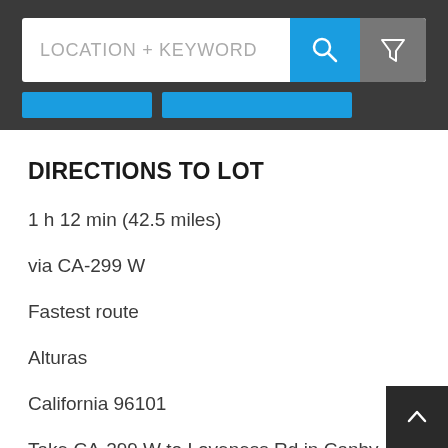[Figure (screenshot): Search bar with LOCATION + KEYWORD placeholder text, a blue search button with magnifying glass icon, and a grey filter button with funnel icon, on dark grey background. Two blue tab buttons below.]
DIRECTIONS TO LOT
1 h 12 min (42.5 miles)
via CA-299 W
Fastest route
Alturas
California 96101
Take CA-299 W to Loveness Rd in Canby